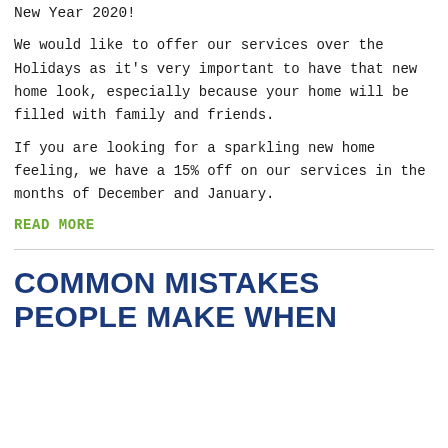New Year 2020!
We would like to offer our services over the Holidays as it's very important to have that new home look, especially because your home will be filled with family and friends.
If you are looking for a sparkling new home feeling, we have a 15% off on our services in the months of December and January.
READ MORE
COMMON MISTAKES PEOPLE MAKE WHEN